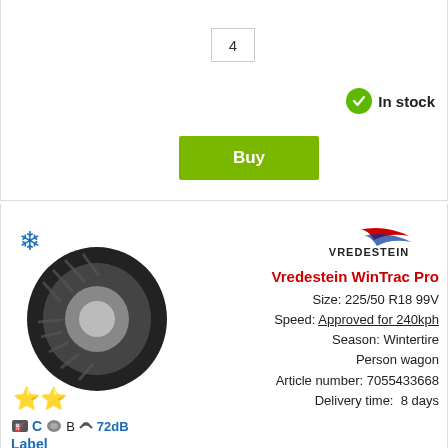4
In stock
Buy
[Figure (photo): Vredestein WinTrac Pro winter tire with snowflake symbol, star ratings, and EU tire label showing C, B, 72dB ratings]
Vredestein WinTrac Pro Size: 225/50 R18 99V Speed: Approved for 240kph Season: Wintertire Person wagon Article number: 7055433668 Delivery time: 8 days
219,01 EUR each.
Funded 4 pcs from per. month. 23,65 EUR
0 Contact